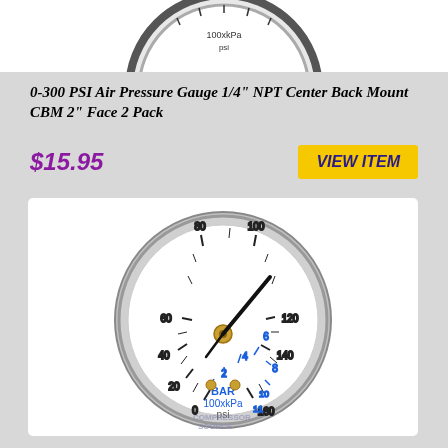[Figure (photo): Partial view of a pressure gauge from above, showing the top arc of a circular gauge face with black ring, white dial, tick marks, and labels showing 100xkPa and psi at top edge]
0-300 PSI Air Pressure Gauge 1/4" NPT Center Back Mount CBM 2" Face 2 Pack
$15.95
VIEW ITEM
[Figure (photo): A circular pressure gauge with black outer ring, white dial face, black needle pointing to approximately 120-125 PSI/8-9 BAR. Outer scale in black shows 0-160 PSI, inner blue scale shows 0-11 BAR. Dial labeled BAR, 100xkPa, psi at bottom. Compressor Source watermark visible. Brass center nut and two small brass screws at bottom.]